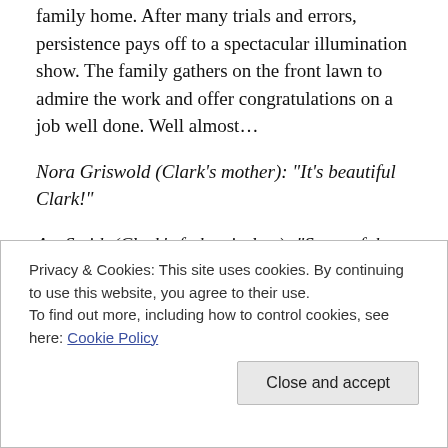family home. After many trials and errors, persistence pays off to a spectacular illumination show. The family gathers on the front lawn to admire the work and offer congratulations on a job well done. Well almost…
Nora Griswold (Clark's mother): "It's beautiful Clark!"
Art Smith (Clark's father-in-law): "Some of them little lights… they aren't twinkling."
Clark Griswold: "I know, Art. Thanks for noticing"
Privacy & Cookies: This site uses cookies. By continuing to use this website, you agree to their use. To find out more, including how to control cookies, see here: Cookie Policy
little lights… they aren't twinkling… You feel